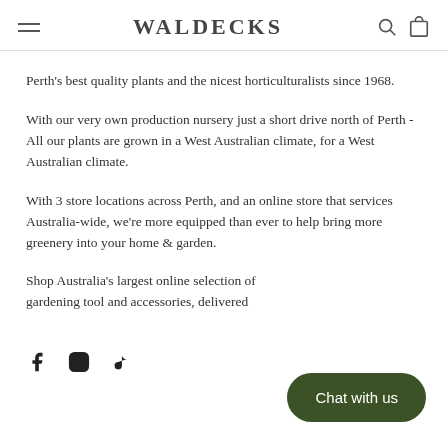WALDECKS
Perth's best quality plants and the nicest horticulturalists since 1968.
With our very own production nursery just a short drive north of Perth - All our plants are grown in a West Australian climate, for a West Australian climate.
With 3 store locations across Perth, and an online store that services Australia-wide, we're more equipped than ever to help bring more greenery into your home & garden.
Shop Australia's largest online selection of gardening tool and accessories, delivered
[Figure (other): Social media icons: Facebook, Instagram, TikTok]
[Figure (other): Chat with us button overlay]